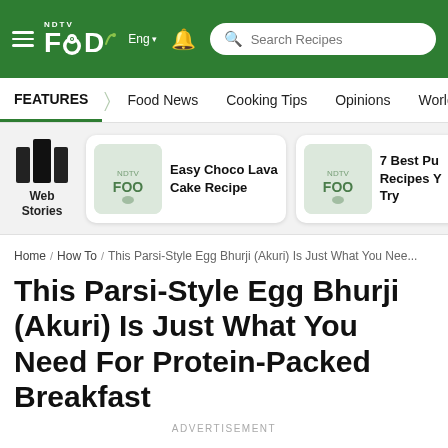NDTV Food | Eng | Search Recipes
FEATURES | Food News | Cooking Tips | Opinions | World Cuisine
[Figure (screenshot): Web Stories panel with story cards: Easy Choco Lava Cake Recipe, 7 Best Pu... Recipes Y... Try]
Home / How To / This Parsi-Style Egg Bhurji (Akuri) Is Just What You Nee...
This Parsi-Style Egg Bhurji (Akuri) Is Just What You Need For Protein-Packed Breakfast
ADVERTISEMENT